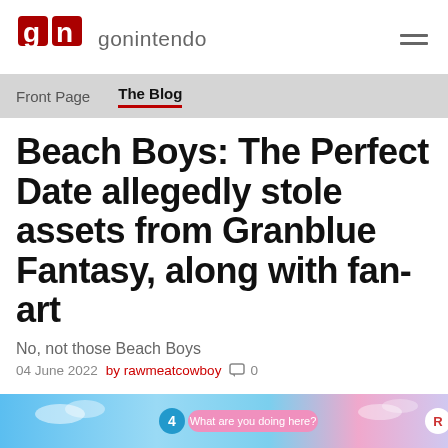gonintendo
Front Page  The Blog
Beach Boys: The Perfect Date allegedly stole assets from Granblue Fantasy, along with fan-art
No, not those Beach Boys
04 June 2022  by rawmeatcowboy  0
[Figure (screenshot): Bottom strip showing a colorful game screenshot with a pink speech bubble saying 'What are you doing here?', a blue number badge showing 4, and a red R badge on the right.]